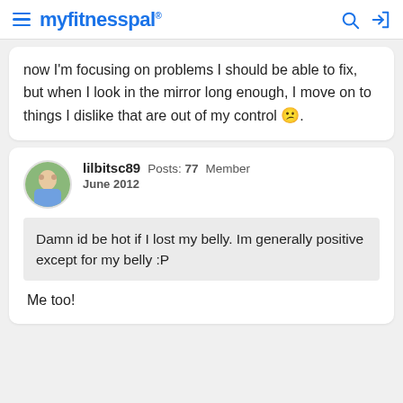myfitnesspal
now I'm focusing on problems I should be able to fix, but when I look in the mirror long enough, I move on to things I dislike that are out of my control 😕.
lilbitsc89  Posts: 77  Member
June 2012
Damn id be hot if I lost my belly. Im generally positive except for my belly :P
Me too!